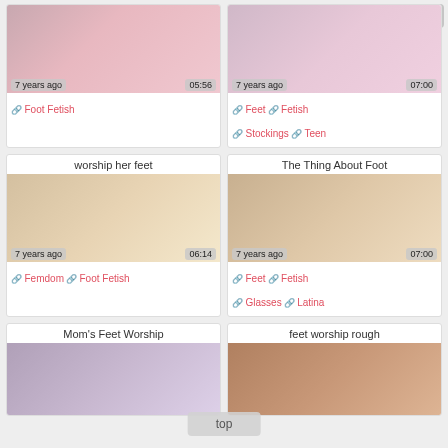[Figure (screenshot): Video thumbnail grid page showing foot fetish video thumbnails with titles, timestamps, tags, and pagination.]
worship her feet
The Thing About Foot
Mom's Feet Worship
feet worship rough